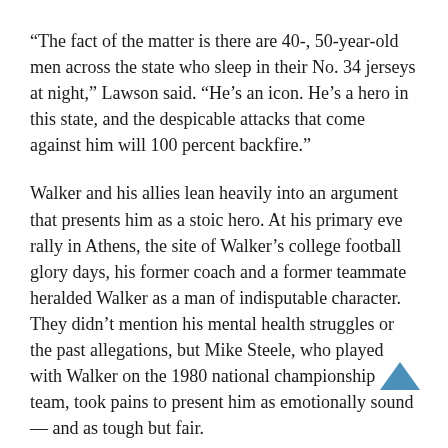“The fact of the matter is there are 40-, 50-year-old men across the state who sleep in their No. 34 jerseys at night,” Lawson said. “He’s an icon. He’s a hero in this state, and the despicable attacks that come against him will 100 percent backfire.”
Walker and his allies lean heavily into an argument that presents him as a stoic hero. At his primary eve rally in Athens, the site of Walker’s college football glory days, his former coach and a former teammate heralded Walker as a man of indisputable character. They didn’t mention his mental health struggles or the past allegations, but Mike Steele, who played with Walker on the 1980 national championship team, took pains to present him as emotionally sound — and as tough but fair.
“You’re never going to see Herschel flinch under pressure, like … who’s that congressman from Illinois,